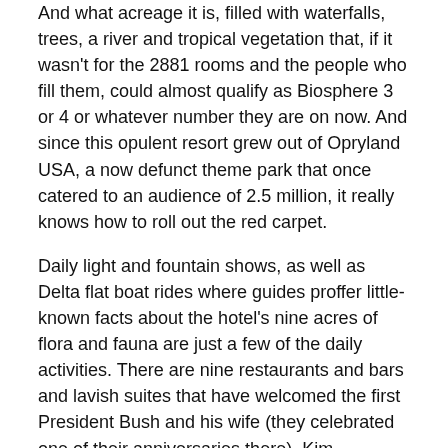And what acreage it is, filled with waterfalls, trees, a river and tropical vegetation that, if it wasn't for the 2881 rooms and the people who fill them, could almost qualify as Biosphere 3 or 4 or whatever number they are on now. And since this opulent resort grew out of Opryland USA, a now defunct theme park that once catered to an audience of 2.5 million, it really knows how to roll out the red carpet.
Daily light and fountain shows, as well as Delta flat boat rides where guides proffer little-known facts about the hotel's nine acres of flora and fauna are just a few of the daily activities. There are nine restaurants and bars and lavish suites that have welcomed the first President Bush and his wife (they celebrated one of their anniversaries there), Kim Kardashian, Kid Rock, Jim Carrey, Macaulay Culkin, Bill Cosby and Ted Koppel, to give just a small sampling.